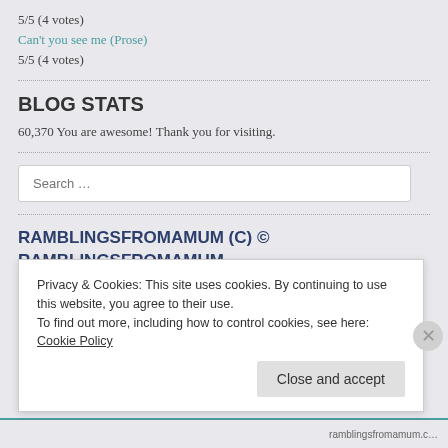5/5 (4 votes)
Can't you see me (Prose)
5/5 (4 votes)
BLOG STATS
60,370 You are awesome! Thank you for visiting.
Search …
RAMBLINGSFROMAMUM (C) © RAMBLINGSFROMAMUM 2012. UNAUTHORIZED USE AND/OR DUPLICATION OF THIS MATERIAL WITHOUT EXPRESS AND WRITTEN PERMISSION
Privacy & Cookies: This site uses cookies. By continuing to use this website, you agree to their use.
To find out more, including how to control cookies, see here: Cookie Policy
Close and accept